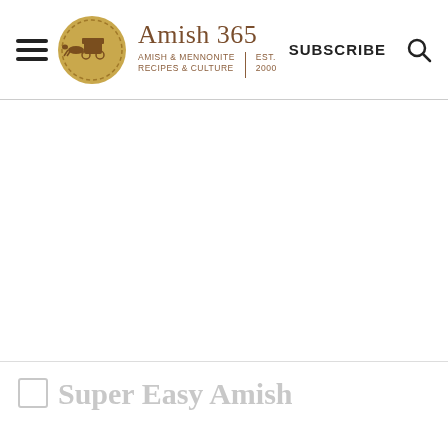Amish 365 | AMISH & MENNONITE RECIPES & CULTURE | EST. 2000 | SUBSCRIBE
Super Easy Amish